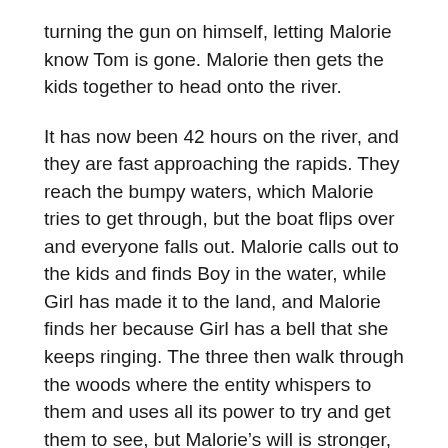turning the gun on himself, letting Malorie know Tom is gone. Malorie then gets the kids together to head onto the river.
It has now been 42 hours on the river, and they are fast approaching the rapids. They reach the bumpy waters, which Malorie tries to get through, but the boat flips over and everyone falls out. Malorie calls out to the kids and finds Boy in the water, while Girl has made it to the land, and Malorie finds her because Girl has a bell that she keeps ringing. The three then walk through the woods where the entity whispers to them and uses all its power to try and get them to see, but Malorie’s will is stronger, and she gets the kids to listen to her and not look. She follows the sounds of the birds as they make it to the compound, but the entity surrounds them as she tries to make it inside until someone opens the door and lets them in.